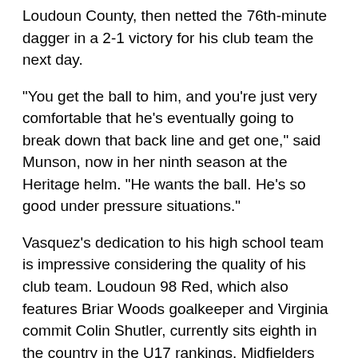Loudoun County, then netted the 76th-minute dagger in a 2-1 victory for his club team the next day.
"You get the ball to him, and you're just very comfortable that he's eventually going to break down that back line and get one," said Munson, now in her ninth season at the Heritage helm. "He wants the ball. He's so good under pressure situations."
Vasquez's dedication to his high school team is impressive considering the quality of his club team. Loudoun 98 Red, which also features Briar Woods goalkeeper and Virginia commit Colin Shutler, currently sits eighth in the country in the U17 rankings. Midfielders Ryan Pyszka and Kosta Nika also pull double duty for both teams, giving Heritage (6-0-1) one of the most imposing attacking units in the area.
With his college decision already under his belt, Vasquez can now turn his full attention to a streaking Heritage side seeking